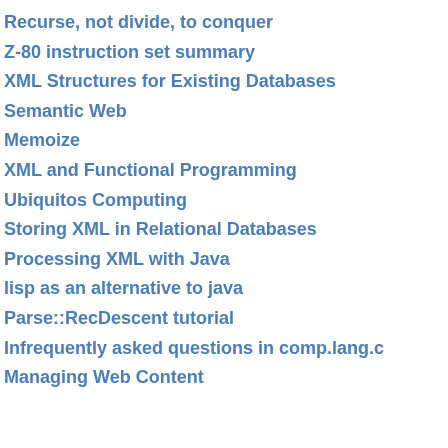Recurse, not divide, to conquer
Z-80 instruction set summary
XML Structures for Existing Databases
Semantic Web
Memoize
XML and Functional Programming
Ubiquitos Computing
Storing XML in Relational Databases
Processing XML with Java
lisp as an alternative to java
Parse::RecDescent tutorial
Infrequently asked questions in comp.lang.c
Managing Web Content